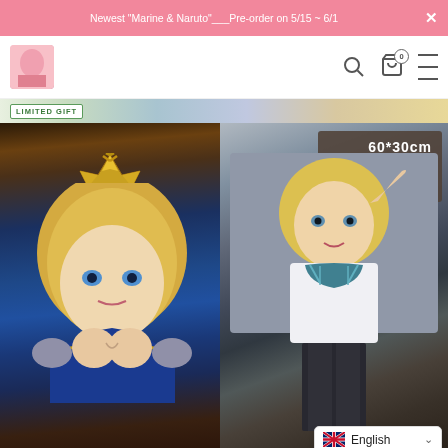Newest "Marine & Naruto"___Pre-order on 5/15 ~ 6/1
[Figure (screenshot): Website navigation bar with logo image, search icon, cart icon (badge 0), and hamburger menu icon]
[Figure (photo): Banner strip with LIMITED GIFT tag and decorative background]
[Figure (photo): Left: Cosplay photo of blonde woman in blue and gold costume with ornate crown. Right: Cosplay photo of blonde woman in casual white shirt and teal lingerie with stockings. Right panel has overlay text '60*30cm HAING SCROLL'. Bottom right has English language selector.]